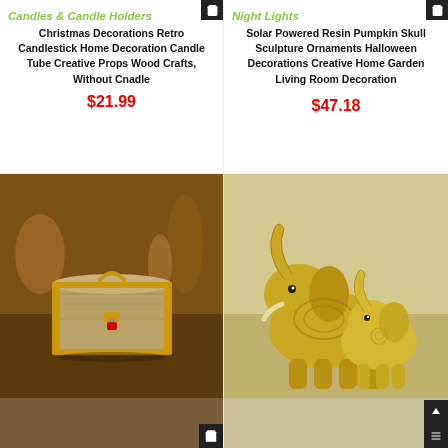Candles & Candle Holders
Christmas Decorations Retro Candlestick Home Decoration Candle Tube Creative Props Wood Crafts, Without Cnadle
$21.99
Night Lights
Solar Powered Resin Pumpkin Skull Sculpture Ornaments Halloween Decorations Creative Home Garden Living Room Decoration
$47.18
[Figure (photo): A vintage wooden treasure chest with gold trim and a red padlock, sitting on a wooden surface with blurred background objects.]
[Figure (photo): Two golden metallic elephant figurines with decorative carved patterns, facing left with trunks raised, on a light background.]